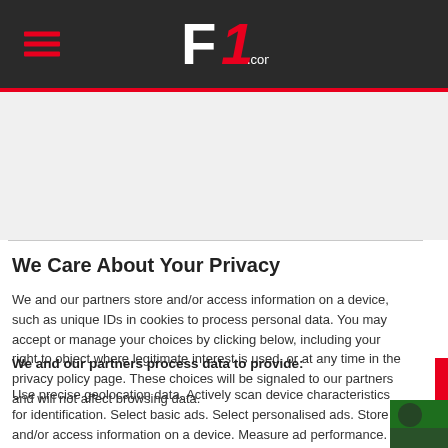F1.com
We Care About Your Privacy
We and our partners store and/or access information on a device, such as unique IDs in cookies to process personal data. You may accept or manage your choices by clicking below, including your right to object where legitimate interest is used, or at any time in the privacy policy page. These choices will be signaled to our partners and will not affect browsing data.
We and our partners process data to provide:
Use precise geolocation data. Actively scan device characteristics for identification. Select basic ads. Select personalised ads. Store and/or access information on a device. Measure ad performance. Create a personalised content profile. Apply market research to